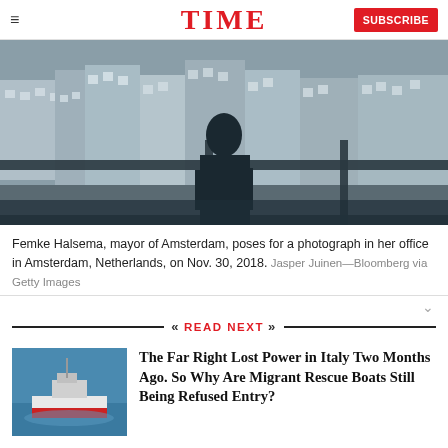TIME  SUBSCRIBE
[Figure (photo): Femke Halsema, mayor of Amsterdam, standing with back to camera looking out large office windows overlooking Amsterdam streets and buildings]
Femke Halsema, mayor of Amsterdam, poses for a photograph in her office in Amsterdam, Netherlands, on Nov. 30, 2018.  Jasper Juinen—Bloomberg via Getty Images
READ NEXT
[Figure (photo): Red and white rescue ship on blue sea water]
The Far Right Lost Power in Italy Two Months Ago. So Why Are Migrant Rescue Boats Still Being Refused Entry?